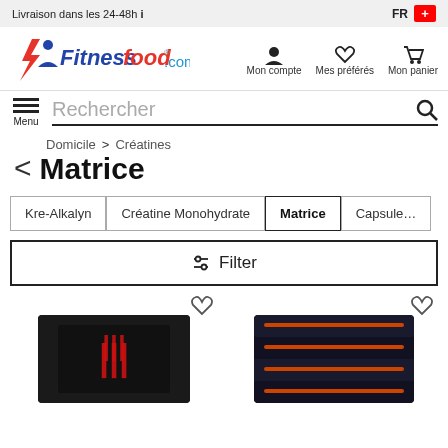Livraison dans les 24-48h ℹ  FR 🇨🇭
[Figure (logo): Fitnessfood.com logo with lightning bolt icon in red and blue italic text]
Mon compte  Mes préférés  Mon panier
☰ Menu  Rechercher 🔍
Domicile > Créatines
Matrice
Kre-Alkalyn
Créatine Monohydrate
Matrice
Capsules
⚙ Filter
[Figure (photo): Black and red container product (protein/creatine supplement) with red logo marks]
[Figure (photo): Dark blue/black container product (creatine supplement) with orange accents]